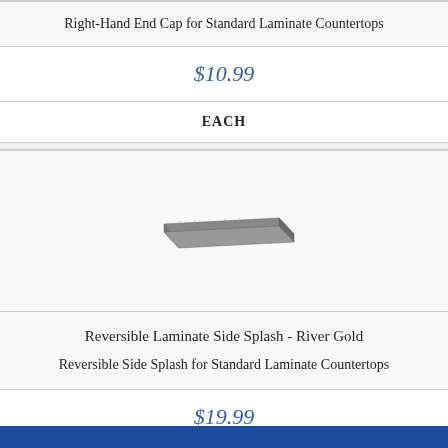Right-Hand End Cap for Standard Laminate Countertops
$10.99
EACH
[Figure (photo): Product photo of a reversible laminate side splash piece in a dark gray/silver color, shown in 3D perspective]
Reversible Laminate Side Splash - River Gold
Reversible Side Splash for Standard Laminate Countertops
$19.99
EACH